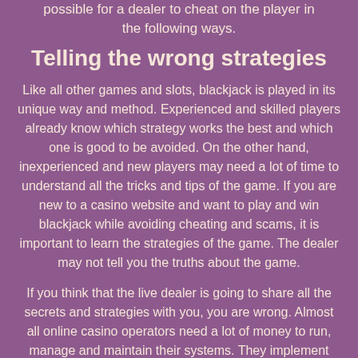possible for a dealer to cheat on the player in the following ways.
Telling the wrong strategies
Like all other games and slots, blackjack is played in its unique way and method. Experienced and skilled players already know which strategy works the best and which one is good to be avoided. On the other hand, inexperienced and new players may need a lot of time to understand all the tricks and tips of the game. If you are new to a casino website and want to play and win blackjack while avoiding cheating and scams, it is important to learn the strategies of the game. The dealer may not tell you the truths about the game.
If you think that the live dealer is going to share all the secrets and strategies with you, you are wrong. Almost all online casino operators need a lot of money to run, manage and maintain their systems. They implement systems that cheat on players in